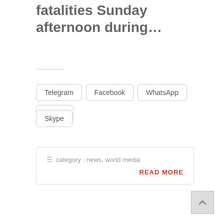fatalities Sunday afternoon during…
Telegram
Facebook
WhatsApp
Twitter
Skype
category : news, world media
READ MORE